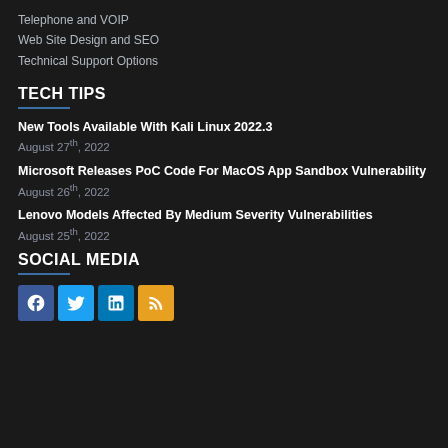Telephone and VOIP
Web Site Design and SEO
Technical Support Options
TECH TIPS
New Tools Available With Kali Linux 2022.3
August 27th, 2022
Microsoft Releases PoC Code For MacOS App Sandbox Vulnerability
August 26th, 2022
Lenovo Models Affected By Medium Severity Vulnerabilities
August 25th, 2022
SOCIAL MEDIA
[Figure (other): Social media icons: Facebook, Twitter, LinkedIn, RSS]